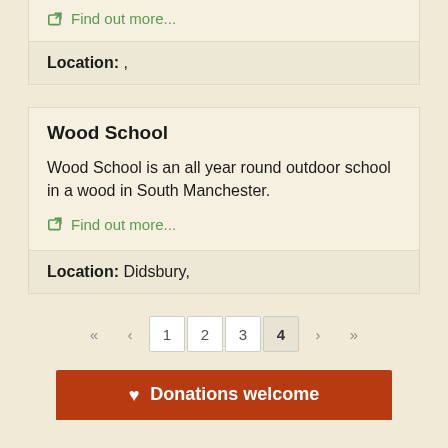Find out more...
Location: ,
Wood School
Wood School is an all year round outdoor school in a wood in South Manchester.
Find out more...
Location: Didsbury,
« ‹ 1 2 3 4 › »
♥ Donations welcome